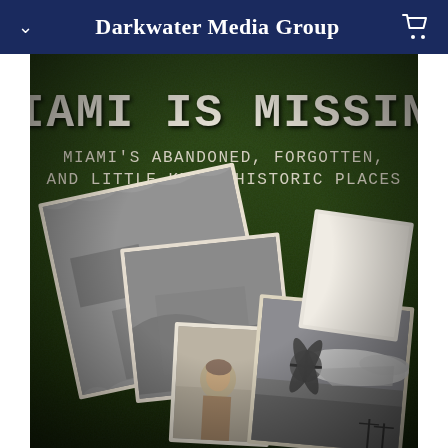Darkwater Media Group
[Figure (illustration): Book cover for 'Miami Is Missing: Miami's Abandoned, Forgotten, and Little-Known Historic Places'. Dark olive/green textured background with scattered vintage black-and-white photographs showing aerial ruins, a portrait of a man, and an airplane with large propellers. Large bold title text at top and subtitle beneath it.]